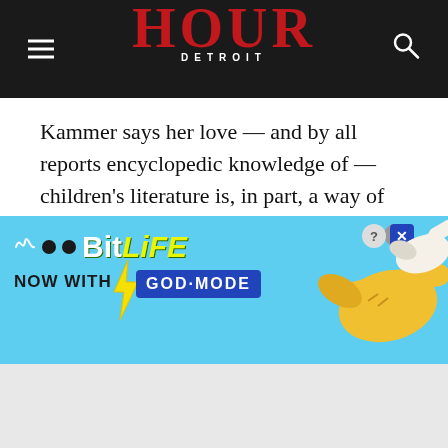HOUR DETROIT
Kammer says her love — and by all reports encyclopedic knowledge of — children's literature is, in part, a way of paying it forward. “You have to create new readers, children who want to be adult readers,” says Kammer. “There are generations of people who come in, excited to buy books for their grandchildren [where] they went when they were kids.”
Repeating the Beat
[Figure (screenshot): BitLife mobile game advertisement banner with light blue background, BitLife logo, 'NOW WITH GOD MODE' text, lightning bolt graphic, and cartoon hand pointing right. Close button and help/X icons in top-right corner.]